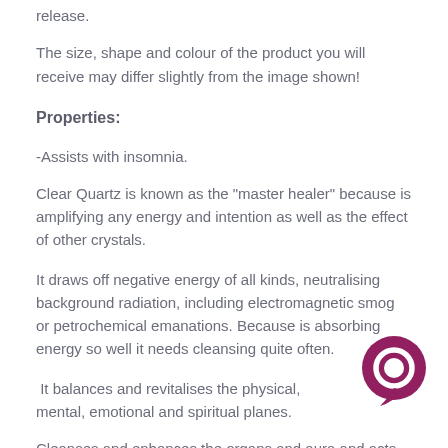release.
The size, shape and colour of the product you will receive may differ slightly from the image shown!
Properties:
-Assists with insomnia.
Clear Quartz is known as the "master healer" because is amplifying any energy and intention as well as the effect of other crystals.
It draws off negative energy of all kinds, neutralising background radiation, including electromagnetic smog or petrochemical emanations. Because is absorbing energy so well it needs cleansing quite often.
It balances and revitalises the physical, mental, emotional and spiritual planes.
Cleanses and enhances the organs and aura and acts as a
[Figure (illustration): Dark magenta/purple circular chat bubble icon in the bottom-right area of the page]